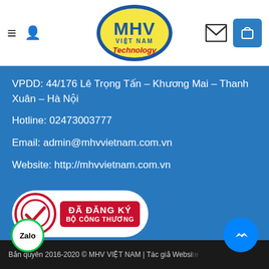[Figure (logo): MHV Việt Nam Technology logo - oval shape with yellow background, blue MHV text, red Technology text]
VPDD: 44/176 Lê Trọng Tấn – Khương Mai – Thanh Xuân – Hà Nội
Hotline: 02473003777
Email: admin@mhvvietnam.com.vn
Website: http://mhvvietnam.com.vn
[Figure (logo): Đã đăng ký Bộ Công Thương registration badge - red circle with checkmark, red rectangle with white text]
Bản quyên 2016-2020 © MHV VIỆT NAM | Tác giả Website